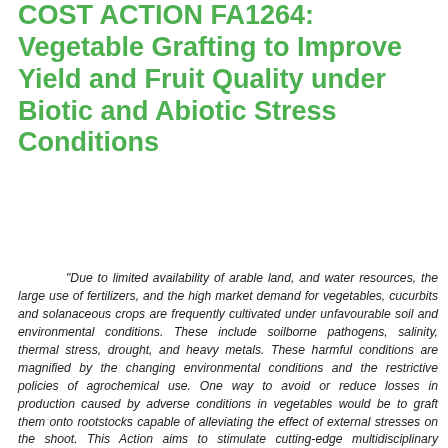COST ACTION FA1264: Vegetable Grafting to Improve Yield and Fruit Quality under Biotic and Abiotic Stress Conditions
"Due to limited availability of arable land, and water resources, the large use of fertilizers, and the high market demand for vegetables, cucurbits and solanaceous crops are frequently cultivated under unfavourable soil and environmental conditions. These include soilborne pathogens, salinity, thermal stress, drought, and heavy metals. These harmful conditions are magnified by the changing environmental conditions and the restrictive policies of agrochemical use. One way to avoid or reduce losses in production caused by adverse conditions in vegetables would be to graft them onto rootstocks capable of alleviating the effect of external stresses on the shoot. This Action aims to stimulate cutting-edge multidisciplinary collaborative research towards identifying and understanding how rootstock-mediated traits can improve vegetable crop yield and quality under biotic and abiotic adverse conditions. Sharing knowledge and enhancing scientific and technical collaboration will surely fill knowledge gaps in the area of vegetable grafting. This Action can also